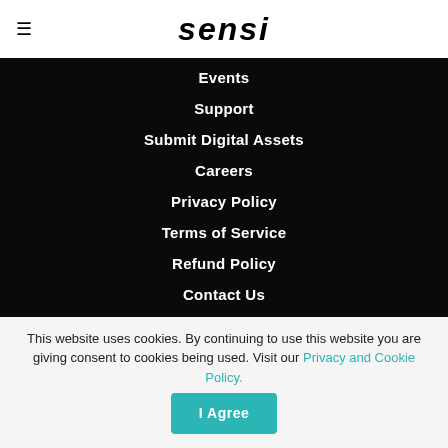sensi
Events
Support
Submit Digital Assets
Careers
Privacy Policy
Terms of Service
Refund Policy
Contact Us
SENSI STATE MARKETS
CALIFORNIA
COLORADO
This website uses cookies. By continuing to use this website you are giving consent to cookies being used. Visit our Privacy and Cookie Policy.